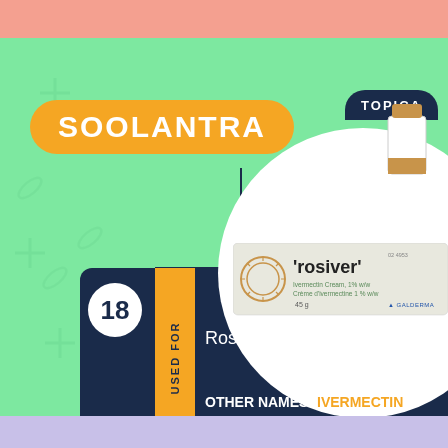SOOLANTRA
18
USED FOR
Rosacea
OTHER NAMES: IVERMECTIN
TOPICAL
[Figure (photo): Rosiver cream tube product box — white/beige box with rosiver brand name and circular logo, Galderma branding]